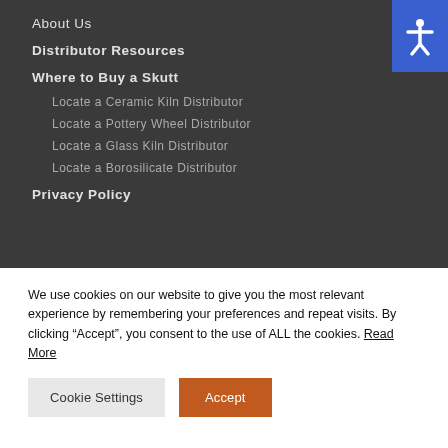About Us
Distributor Resources
Where to Buy a Skutt
Locate a Ceramic Kiln Distributor
Locate a Pottery Wheel Distributor
Locate a Glass Kiln Distributor
Locate a Borosilicate Distributor
Privacy Policy
We use cookies on our website to give you the most relevant experience by remembering your preferences and repeat visits. By clicking “Accept”, you consent to the use of ALL the cookies. Read More